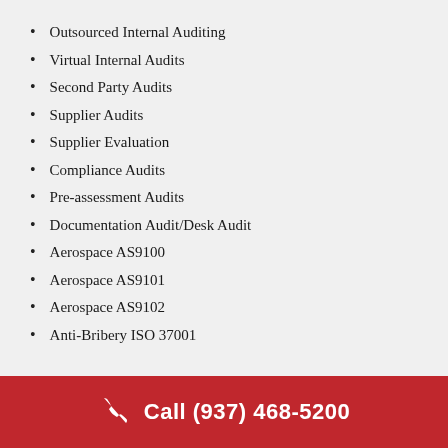Outsourced Internal Auditing
Virtual Internal Audits
Second Party Audits
Supplier Audits
Supplier Evaluation
Compliance Audits
Pre-assessment Audits
Documentation Audit/Desk Audit
Aerospace AS9100
Aerospace AS9101
Aerospace AS9102
Anti-Bribery ISO 37001
Asset Management ISO 55001
Call (937) 468-5200